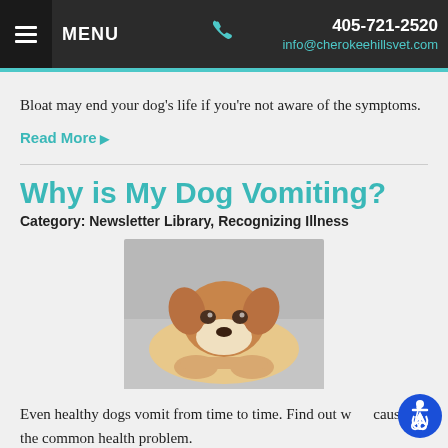MENU | 405-721-2520 | info@cherokeehillsvet.com
Bloat may end your dog's life if you're not aware of the symptoms.
Read More ▶
Why is My Dog Vomiting?
Category: Newsletter Library, Recognizing Illness
[Figure (photo): A brown and white dog lying down on a grey surface, looking up at the camera with a sad or tired expression.]
Even healthy dogs vomit from time to time. Find out what causes the common health problem.